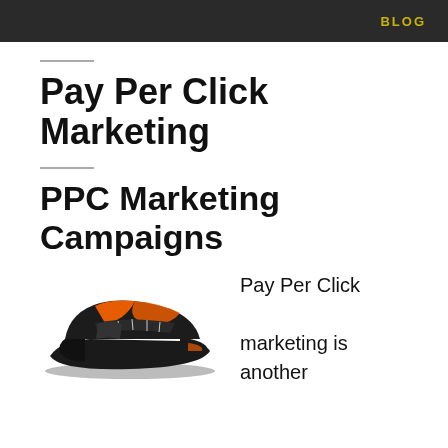BLOG
Pay Per Click Marketing
PPC Marketing Campaigns
[Figure (photo): Orange and black athletic sneaker/running shoe]
Pay Per Click marketing is another